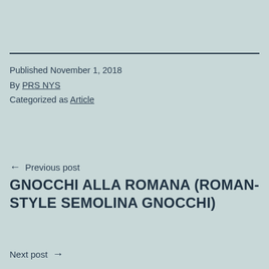Published November 1, 2018
By PRS NYS
Categorized as Article
← Previous post
GNOCCHI ALLA ROMANA (ROMAN-STYLE SEMOLINA GNOCCHI)
Next post →